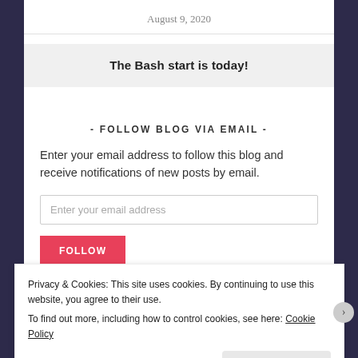August 9, 2020
The Bash start is today!
- FOLLOW BLOG VIA EMAIL -
Enter your email address to follow this blog and receive notifications of new posts by email.
Enter your email address
FOLLOW
Privacy & Cookies: This site uses cookies. By continuing to use this website, you agree to their use. To find out more, including how to control cookies, see here: Cookie Policy
Close and accept